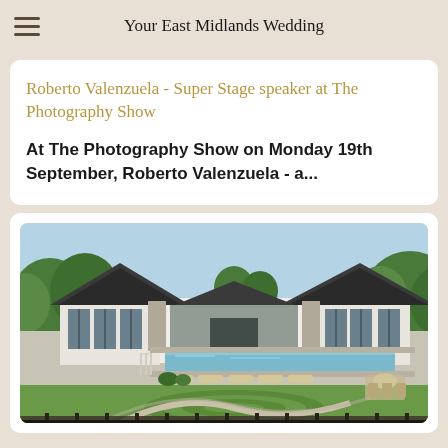Your East Midlands Wedding
Roberto Valenzuela - Super Stage speaker at The Photography Show
At The Photography Show on Monday 19th September, Roberto Valenzuela - a...
[Figure (photo): Exterior view of a modern wedding venue building with dark angular rooflines, large glass windows, stone pillars, outdoor pool area with sun loungers, and manicured lawn gardens with circular pathway design.]